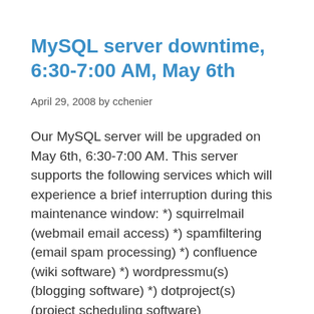MySQL server downtime, 6:30-7:00 AM, May 6th
April 29, 2008 by cchenier
Our MySQL server will be upgraded on May 6th, 6:30-7:00 AM. This server supports the following services which will experience a brief interruption during this maintenance window: *) squirrelmail (webmail email access) *) spamfiltering (email spam processing) *) confluence (wiki software) *) wordpressmu(s) (blogging software) *) dotproject(s) (project scheduling software)